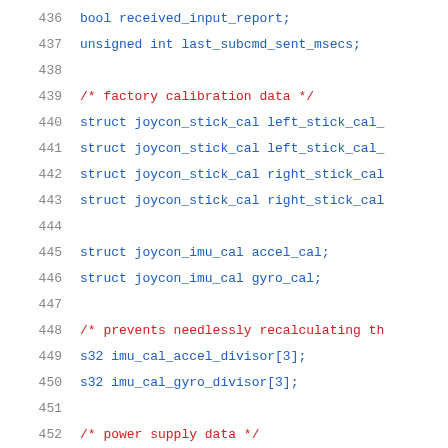436    bool received_input_report;
437    unsigned int last_subcmd_sent_msecs;
438
439    /* factory calibration data */
440    struct joycon_stick_cal left_stick_cal_
441    struct joycon_stick_cal left_stick_cal_
442    struct joycon_stick_cal right_stick_cal
443    struct joycon_stick_cal right_stick_cal
444
445    struct joycon_imu_cal accel_cal;
446    struct joycon_imu_cal gyro_cal;
447
448    /* prevents needlessly recalculating th
449    s32 imu_cal_accel_divisor[3];
450    s32 imu_cal_gyro_divisor[3];
451
452    /* power supply data */
453    struct power_supply *battery;
454    struct power_supply_desc battery_desc;
455    u8 battery_capacity;
456    bool battery_charging;